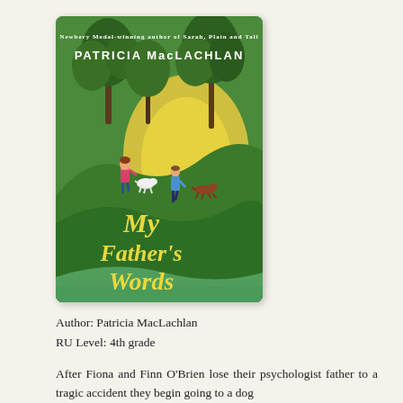[Figure (illustration): Book cover of 'My Father's Words' by Patricia MacLachlan, showing children and dogs running through a green wooded landscape with yellow light between the trees. The title is written in yellow handwritten-style text. The author name appears at the top in white capital letters above a tagline reading 'Newbery Medal-winning author of Sarah, Plain and Tall'.]
Author: Patricia MacLachlan
RU Level: 4th grade
After Fiona and Finn O'Brien lose their psychologist father to a tragic accident they begin going to a dog